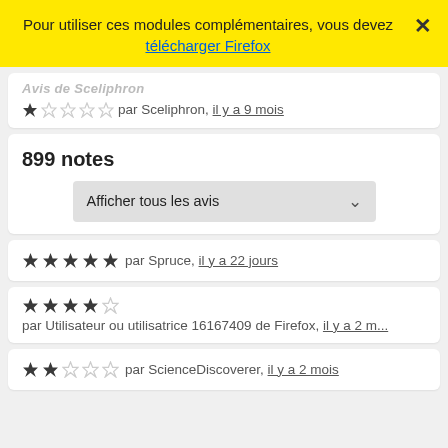Pour utiliser ces modules complémentaires, vous devez télécharger Firefox ×
Avis de Sceliphron
★☆☆☆☆ par Sceliphron, il y a 9 mois
899 notes
Afficher tous les avis
★★★★★ par Spruce, il y a 22 jours
★★★★☆ par Utilisateur ou utilisatrice 16167409 de Firefox, il y a 2 m...
★★★☆☆ par ScienceDiscoverer, il y a 2 mois